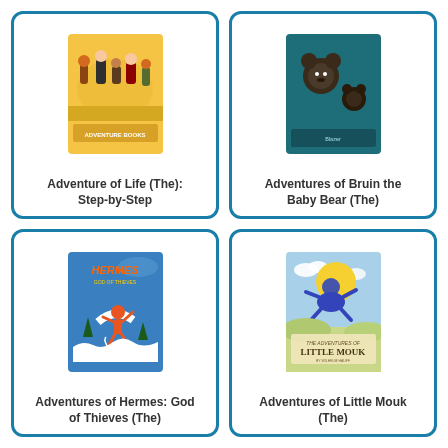[Figure (illustration): Book cover for 'Adventure of Life (The): Step-by-Step' showing illustrated cartoon characters on a yellow background]
Adventure of Life (The): Step-by-Step
[Figure (illustration): Book cover for 'Adventures of Bruin the Baby Bear (The)' showing bear characters on a dark teal background]
Adventures of Bruin the Baby Bear (The)
[Figure (illustration): Book cover for 'Adventures of Hermes: God of Thieves (The)' showing Hermes figure on a blue background, by Murielle Szac]
Adventures of Hermes: God of Thieves (The)
[Figure (illustration): Book cover for 'Adventures of Little Mouk (The)' showing illustrated scene with a round character flying over a landscape]
Adventures of Little Mouk (The)